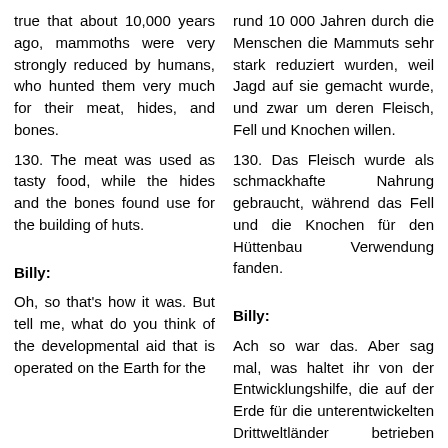true that about 10,000 years ago, mammoths were very strongly reduced by humans, who hunted them very much for their meat, hides, and bones.
rund 10 000 Jahren durch die Menschen die Mammuts sehr stark reduziert wurden, weil Jagd auf sie gemacht wurde, und zwar um deren Fleisch, Fell und Knochen willen.
130. The meat was used as tasty food, while the hides and the bones found use for the building of huts.
130. Das Fleisch wurde als schmackhafte Nahrung gebraucht, während das Fell und die Knochen für den Hüttenbau Verwendung fanden.
Billy:
Billy:
Oh, so that's how it was. But tell me, what do you think of the developmental aid that is operated on the Earth for the
Ach so war das. Aber sag mal, was haltet ihr von der Entwicklungshilfe, die auf der Erde für die unterentwickelten Drittweltländer betrieben wird?